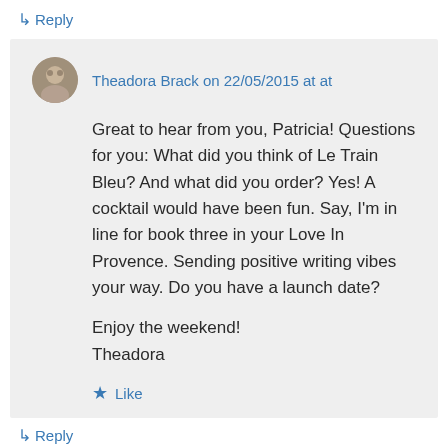↳ Reply
Theadora Brack on 22/05/2015 at at
Great to hear from you, Patricia! Questions for you: What did you think of Le Train Bleu? And what did you order? Yes! A cocktail would have been fun. Say, I'm in line for book three in your Love In Provence. Sending positive writing vibes your way. Do you have a launch date?

Enjoy the weekend!
Theadora
★ Like
↳ Reply